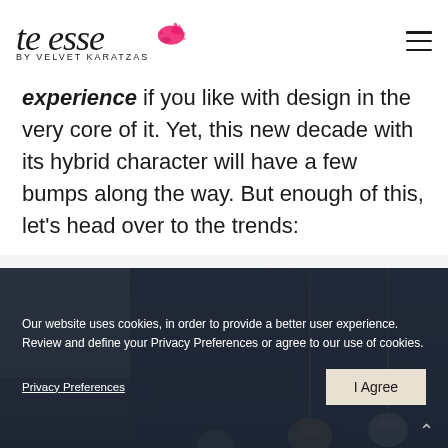[Figure (logo): te esse by VELVET KARATZAS logo with pink paint splash]
experience if you like with design in the very core of it. Yet, this new decade with its hybrid character will have a few bumps along the way. But enough of this, let's head over to the trends:
[Figure (photo): Interior design photo showing pendant lights and dark blue kitchen/room background]
Our website uses cookies, in order to provide a better user experience. Review and define your Privacy Preferences or agree to our use of cookies.
Privacy Preferences
I Agree